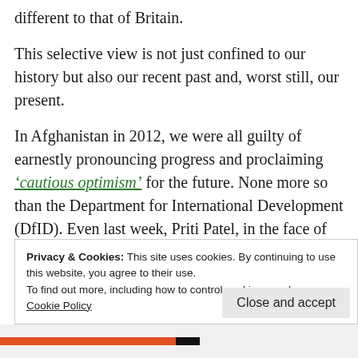different to that of Britain.
This selective view is not just confined to our history but also our recent past and, worst still, our present.
In Afghanistan in 2012, we were all guilty of earnestly pronouncing progress and proclaiming ‘cautious optimism’ for the future. None more so than the Department for International Development (DfID). Even last week, Priti Patel, in the face of overwhelming evidence to the contrary claimed ‘The UK’s presence in Afghanistan over the last decade has helped improve security and… improved the lives of Afghans.
Privacy & Cookies: This site uses cookies. By continuing to use this website, you agree to their use.
To find out more, including how to control cookies, see here: Cookie Policy
Close and accept